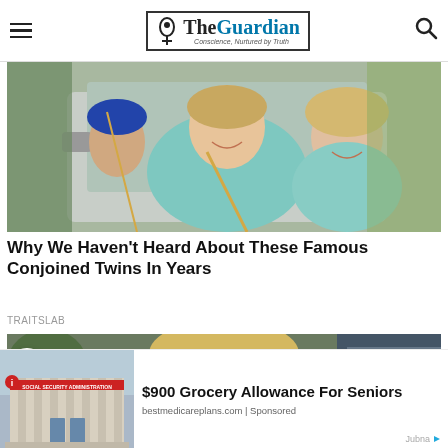The Guardian — Conscience, Nurtured by Truth
[Figure (photo): Two young women smiling and leaning out of a car window, selfie-style photo]
Why We Haven't Heard About These Famous Conjoined Twins In Years
TRAITSLAB
[Figure (photo): Blonde woman looking at camera, partial view with colorful background]
[Figure (photo): Social Security Administration building exterior]
$900 Grocery Allowance For Seniors
bestmedicareplans.com | Sponsored
Jubna